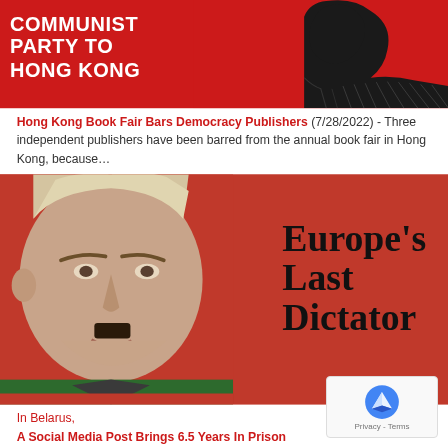[Figure (illustration): Red background image with white bold text reading 'COMMUNIST PARTY TO HONG KONG' on the left, and a black-and-white silhouette of a person on the right]
Hong Kong Book Fair Bars Democracy Publishers (7/28/2022) - Three independent publishers have been barred from the annual book fair in Hong Kong, because…
[Figure (illustration): Red background image with a stylized face of a man on the left, and bold black text reading "Europe's Last Dictator" on the right]
In Belarus, A Social Media Post Brings 6.5 Years In Prison (7/14/2022) - Belarus has been transformed into a Russian air base by Mr. Lukashenko, who is increasingly